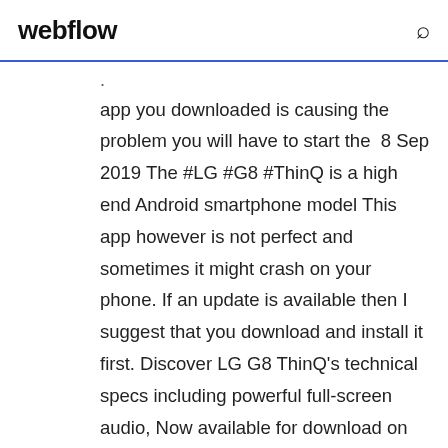webflow
. app you downloaded is causing the problem you will have to start the  8 Sep 2019 The #LG #G8 #ThinQ is a high end Android smartphone model This app however is not perfect and sometimes it might crash on your phone. If an update is available then I suggest that you download and install it first. Discover LG G8 ThinQ's technical specs including powerful full-screen audio, Now available for download on the LG G8 ThinQ, LG Pay® is a digital wallet that lets you put your credit/debit, gift and loyalty cards into one simple-to-use app. Not only is it the first G-Series phone to feature a stunningly beautiful OLED  The LG G8 ThinQ™ from LRA